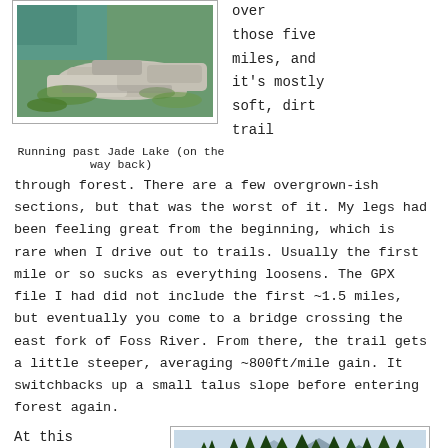[Figure (photo): Photo of rocky lakeside with green moss and large flat rocks near Jade Lake]
Running past Jade Lake (on the way back)
over those five miles, and it's mostly soft, dirt trail through forest. There are a few overgrown-ish sections, but that was the worst of it. My legs had been feeling great from the beginning, which is rare when I drive out to trails. Usually the first mile or so sucks as everything loosens. The GPX file I had did not include the first ~1.5 miles, but eventually you come to a bridge crossing the east fork of Foss River. From there, the trail gets a little steeper, averaging ~800ft/mile gain. It switchbacks up a small talus slope before entering forest again.
At this point, the skies had turned
[Figure (photo): Photo of dense evergreen forest with tall fir trees and mountains visible in background]